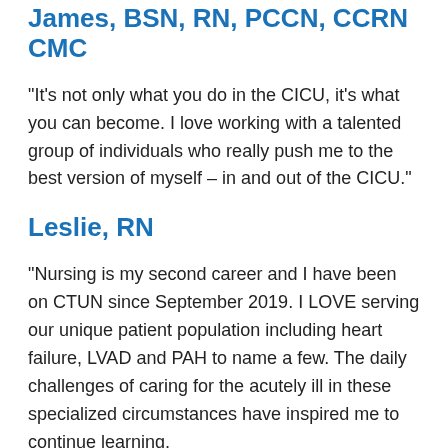James, BSN, RN, PCCN, CCRN CMC
"It's not only what you do in the CICU, it's what you can become. I love working with a talented group of individuals who really push me to the best version of myself – in and out of the CICU."
Leslie, RN
"Nursing is my second career and I have been on CTUN since September 2019. I LOVE serving our unique patient population including heart failure, LVAD and PAH to name a few. The daily challenges of caring for the acutely ill in these specialized circumstances have inspired me to continue learning,